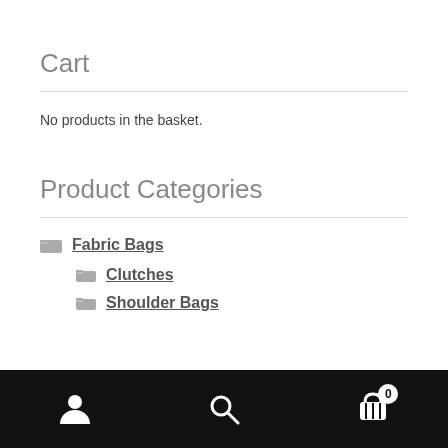Cart
No products in the basket.
Product Categories
Fabric Bags
Clutches
Shoulder Bags